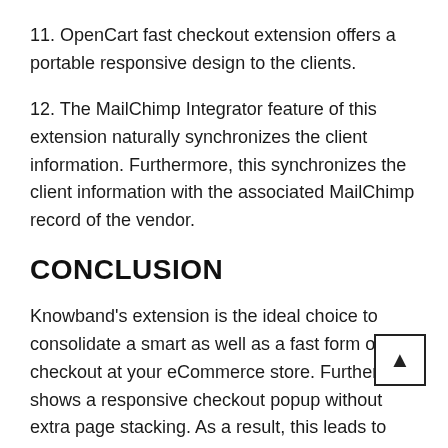11. OpenCart fast checkout extension offers a portable responsive design to the clients.
12. The MailChimp Integrator feature of this extension naturally synchronizes the client information. Furthermore, this synchronizes the client information with the associated MailChimp record of the vendor.
CONCLUSION
Knowband’s extension is the ideal choice to consolidate a smart as well as a fast form of checkout at your eCommerce store. Further, it shows a responsive checkout popup without extra page stacking. As a result, this leads to less cart abandonment rate. And on the other hand, more client engagement.
Getting frustrated with the multiple numbers of steps, the majority of the clients are constrained to exit out of the store. Also, things being what they are, the reason not to